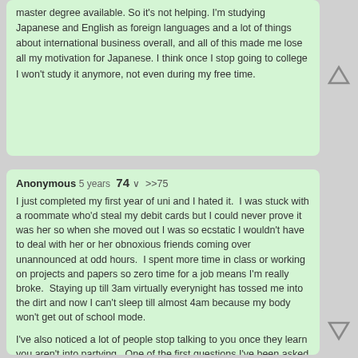master degree available. So it's not helping. I'm studying Japanese and English as foreign languages and a lot of things about international business overall, and all of this made me lose all my motivation for Japanese. I think once I stop going to college I won't study it anymore, not even during my free time.
Anonymous 5 years 74 >>75
I just completed my first year of uni and I hated it. I was stuck with a roommate who'd steal my debit cards but I could never prove it was her so when she moved out I was so ecstatic I wouldn't have to deal with her or her obnoxious friends coming over unannounced at odd hours. I spent more time in class or working on projects and papers so zero time for a job means I'm really broke. Staying up till 3am virtually everynight has tossed me into the dirt and now I can't sleep till almost 4am because my body won't get out of school mode.

I've also noticed a lot of people stop talking to you once they learn you aren't into partying. One of the first questions I've been asked by almost everyone I thought could be a potential friend was if I went to the parties. I know not all fellow uni students are like this but it just irks me that some only want to hang out with you if you want to go get drunk all the time. I'm a fashion design major(inb4 useless major) and I'm also studying Japanese cause there's a market for translators where I live. I'm thinking of picking up history or another language but I don't know if I could handle either one.